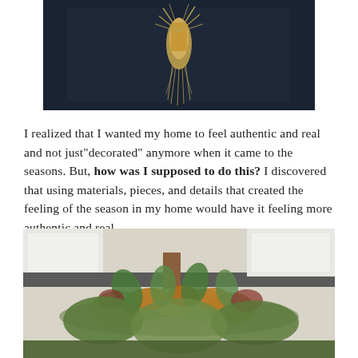[Figure (photo): A dark navy/black wooden door with a dried corn husk or wheat bundle decoration hanging on it, photographed from close up]
I realized that I wanted my home to feel authentic and real and not just"decorated" anymore when it came to the seasons. But, how was I supposed to do this? I discovered that using materials, pieces, and details that created the feeling of the season in my home would have it feeling more authentic and real.
[Figure (photo): A close-up photo of an autumn floral arrangement featuring dried hydrangeas in muted greens and yellows, mixed greenery with leaves in various shades of green and burgundy, placed on what appears to be a kitchen counter with white cabinets in the background]